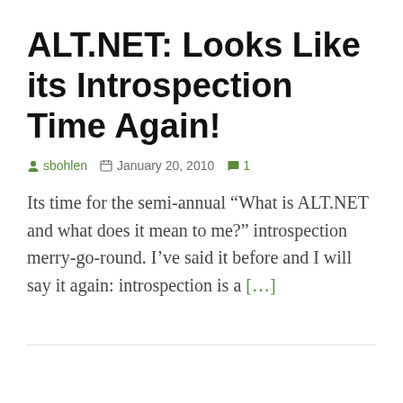ALT.NET: Looks Like its Introspection Time Again!
sbohlen  January 20, 2010  1
Its time for the semi-annual “What is ALT.NET and what does it mean to me?” introspection merry-go-round. I’ve said it before and I will say it again: introspection is a […]